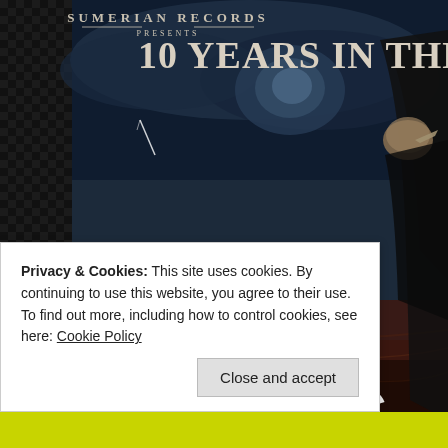[Figure (illustration): Album artwork screenshot showing Sumerian Records presents '10 YEARS IN THE BLA[CK]' with fantasy dark ocean scene featuring a child figure reaching upward toward a cloaked creature, with dark stormy sky and wooden boat. Artist name 'ASKING [ALEXANDRIA]' visible in large white bold text at bottom. Dark color palette with deep blues and browns.]
Privacy & Cookies: This site uses cookies. By continuing to use this website, you agree to their use.
To find out more, including how to control cookies, see here: Cookie Policy
Close and accept